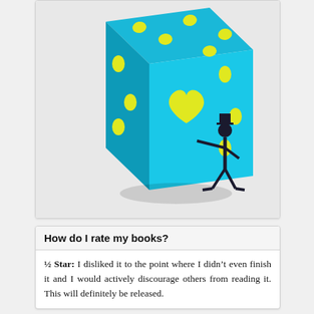[Figure (photo): A large bright blue dice/cube with yellow dot markings and a yellow heart on the visible front face. A small black silhouette figure of a person wearing a hat stands next to the dice, appearing to touch or reach toward the heart symbol. The background is light gray/white.]
How do I rate my books?
½ Star: I disliked it to the point where I didn't even finish it and I would actively discourage others from reading it. This will definitely be released.